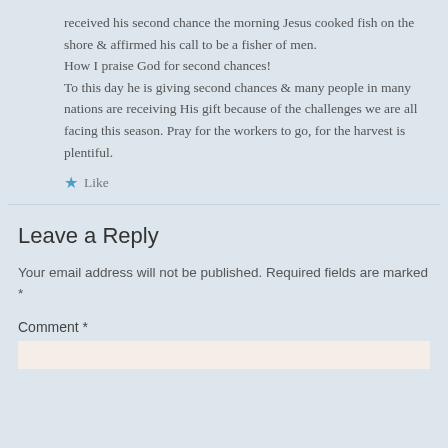received his second chance the morning Jesus cooked fish on the shore & affirmed his call to be a fisher of men.
How I praise God for second chances!
To this day he is giving second chances & many people in many nations are receiving His gift because of the challenges we are all facing this season. Pray for the workers to go, for the harvest is plentiful.
Like
Leave a Reply
Your email address will not be published. Required fields are marked *
Comment *